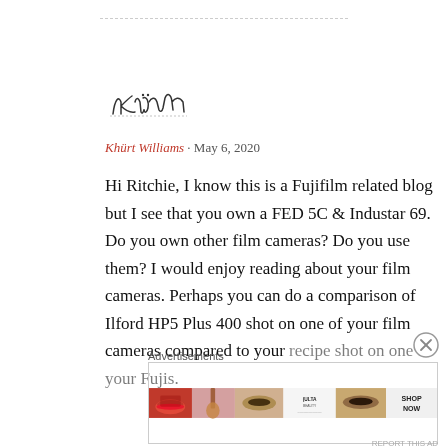[Figure (logo): Stylized handwritten/cursive logo reading 'Khürt' or similar signature]
Khürt Williams · May 6, 2020
Hi Ritchie, I know this is a Fujifilm related blog but I see that you own a FED 5C & Industar 69. Do you own other film cameras? Do you use them? I would enjoy reading about your film cameras. Perhaps you can do a comparison of Ilford HP5 Plus 400 shot on one of your film cameras compared to your recipe shot on one of your Fujis.
Advertisements
[Figure (photo): Ulta Beauty advertisement banner showing makeup/cosmetics imagery with lips, brushes, eyes, and ULTA logo with SHOP NOW call to action]